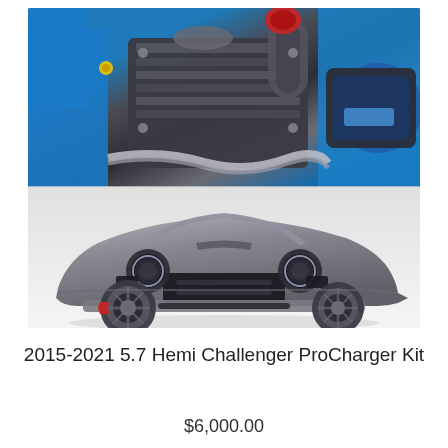[Figure (photo): Composite product photo showing two images: top half is a close-up of a supercharger/engine bay with blue engine components and a ProCharger unit; bottom half shows a gray Dodge Challenger SRT muscle car from the front-three-quarter angle on a white background.]
2015-2021 5.7 Hemi Challenger ProCharger Kit
$6,000.00